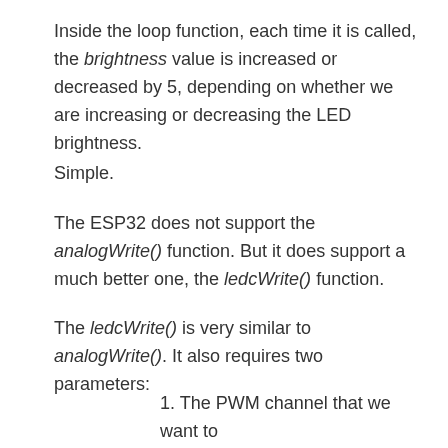Inside the loop function, each time it is called, the brightness value is increased or decreased by 5, depending on whether we are increasing or decreasing the LED brightness.
Simple.
The ESP32 does not support the analogWrite() function. But it does support a much better one, the ledcWrite() function.
The ledcWrite() is very similar to analogWrite(). It also requires two parameters:
1. The PWM channel that we want to “write” a value to.